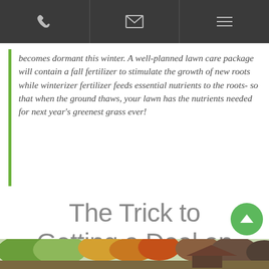[Navigation bar with phone, email, and menu icons]
becomes dormant this winter. A well-planned lawn care package will contain a fall fertilizer to stimulate the growth of new roots while winterizer fertilizer feeds essential nutrients to the roots- so that when the ground thaws, your lawn has the nutrients needed for next year's greenest grass ever!
The Trick to Getting a Deal on Fall Treatments
[Figure (photo): Bottom strip showing autumn trees and foliage landscape photo]